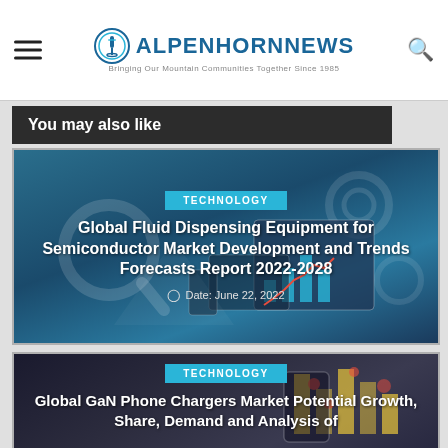ALPENHORNNEWS — Bringing Our Mountain Communities Together Since 1985
You may also like
[Figure (screenshot): Article card with teal/blue background showing market research devices graphic. Category tag: TECHNOLOGY. Title: Global Fluid Dispensing Equipment for Semiconductor Market Development and Trends Forecasts Report 2022-2028. Date: June 22, 2022]
[Figure (screenshot): Article card with dark navy background showing phone/tablet with bar chart graphic. Category tag: TECHNOLOGY. Title: Global GaN Phone Chargers Market Potential Growth, Share, Demand and Analysis of]